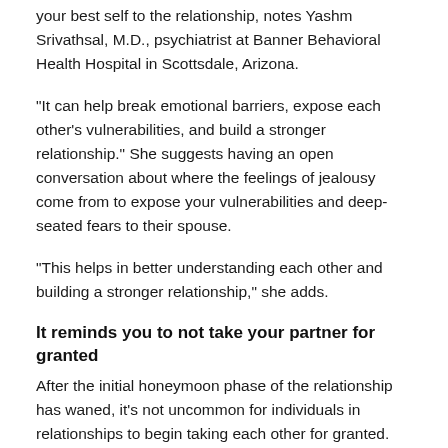your best self to the relationship, notes Yashm Srivathsal, M.D., psychiatrist at Banner Behavioral Health Hospital in Scottsdale, Arizona.
“It can help break emotional barriers, expose each other’s vulnerabilities, and build a stronger relationship.” She suggests having an open conversation about where the feelings of jealousy come from to expose your vulnerabilities and deep-seated fears to their spouse.
“This helps in better understanding each other and building a stronger relationship,” she adds.
It reminds you to not take your partner for granted
After the initial honeymoon phase of the relationship has waned, it’s not uncommon for individuals in relationships to begin taking each other for granted. But a little jealousy can help remind you (and your partner) of what you have.
“It’s a great reminder because, so often, couples slack off and resort to sweatpants and grooming as a hobby, not a